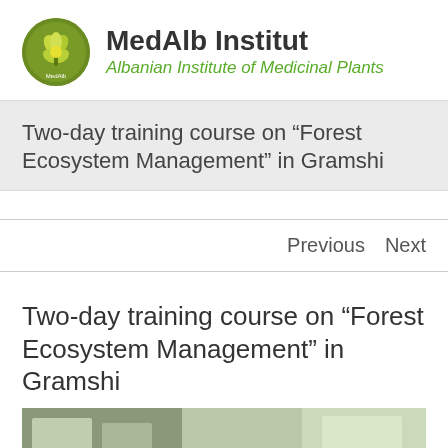[Figure (logo): MedAlb Institut circular logo with plant/flower illustration]
MedAlb Institut
Albanian Institute of Medicinal Plants
Two-day training course on “Forest Ecosystem Management” in Gramshi
Previous   Next
Two-day training course on “Forest Ecosystem Management” in Gramshi
[Figure (photo): Partial photo of a training room or classroom setting]